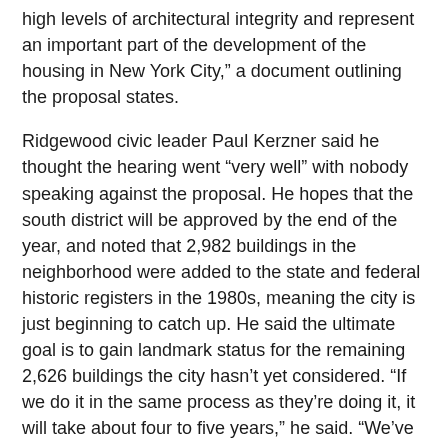high levels of architectural integrity and represent an important part of the development of the housing in New York City,” a document outlining the proposal states.
Ridgewood civic leader Paul Kerzner said he thought the hearing went “very well” with nobody speaking against the proposal. He hopes that the south district will be approved by the end of the year, and noted that 2,982 buildings in the neighborhood were added to the state and federal historic registers in the 1980s, meaning the city is just beginning to catch up. He said the ultimate goal is to gain landmark status for the remaining 2,626 buildings the city hasn’t yet considered. “If we do it in the same process as they’re doing it, it will take about four to five years,” he said. “We’ve done three of 18 areas [including Stockholm Street years ago] so I promised the commissioner I’ll be back 15 more times.”
Kerzner noted that the LPC’s standards are “very high,” meaning approval of the historic district carries a lot of weight. “Those of us who have spend a lot of time in Ridgewood or who own Mathews Flats are kind of jaded and don’t see them as significant, just as housing,” he said. “I